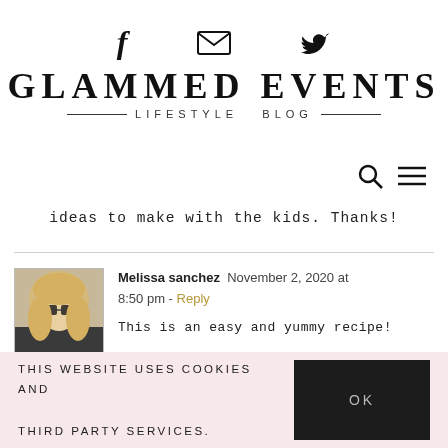[Figure (logo): Social media icons bar: Facebook f, envelope/email, Twitter bird]
GLAMMED EVENTS
LIFESTYLE BLOG
[Figure (other): Search icon (magnifying glass) and hamburger menu icon]
ideas to make with the kids. Thanks!
Melissa sanchez  November 2, 2020 at 8:50 pm - Reply
This is an easy and yummy recipe!
THIS WEBSITE USES COOKIES AND THIRD PARTY SERVICES.